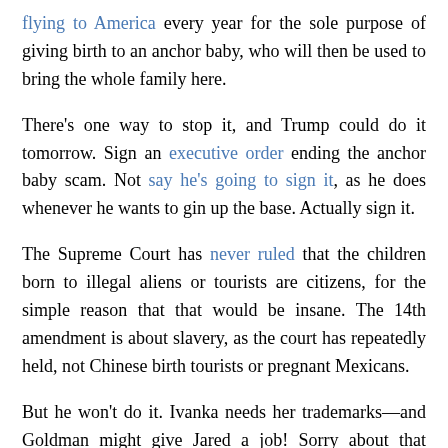flying to America every year for the sole purpose of giving birth to an anchor baby, who will then be used to bring the whole family here.
There's one way to stop it, and Trump could do it tomorrow. Sign an executive order ending the anchor baby scam. Not say he's going to sign it, as he does whenever he wants to gin up the base. Actually sign it.
The Supreme Court has never ruled that the children born to illegal aliens or tourists are citizens, for the simple reason that that would be insane. The 14th amendment is about slavery, as the court has repeatedly held, not Chinese birth tourists or pregnant Mexicans.
But he won't do it. Ivanka needs her trademarks—and Goldman might give Jared a job! Sorry about that Wuhan flu, America.